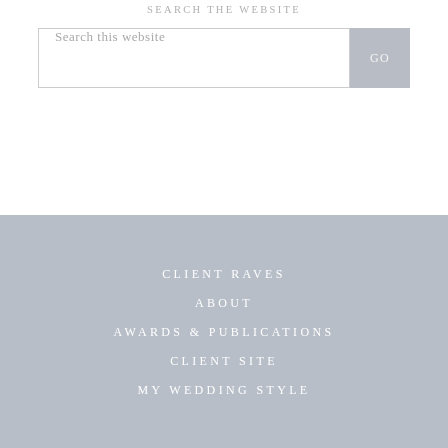SEARCH THE WEBSITE
Search this website
CLIENT RAVES
ABOUT
AWARDS & PUBLICATIONS
CLIENT SITE
MY WEDDING STYLE